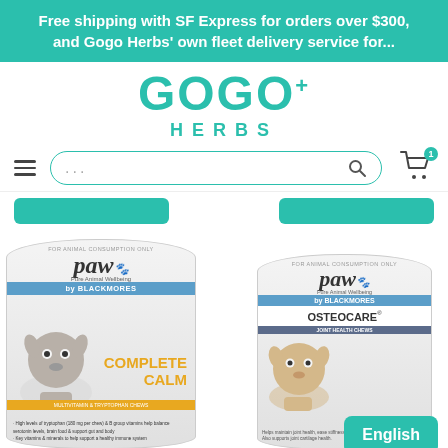Free shipping with SF Express for orders over $300, and Gogo Herbs' own fleet delivery service for...
[Figure (logo): GOGO+ HERBS logo in teal color]
[Figure (screenshot): Navigation bar with hamburger menu, search box with ellipsis, teal search icon, and shopping cart icon with badge showing 1]
[Figure (photo): PAW by Blackmores Complete Calm supplement canister for dogs, with a Border Collie image]
[Figure (photo): PAW by Blackmores OsteoCare Joint Health Chews canister for dogs, with a Golden Retriever image]
English